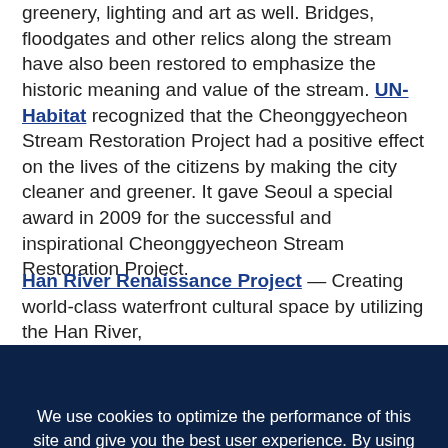greenery, lighting and art as well. Bridges, floodgates and other relics along the stream have also been restored to emphasize the historic meaning and value of the stream. UN-Habitat recognized that the Cheonggyecheon Stream Restoration Project had a positive effect on the lives of the citizens by making the city cleaner and greener. It gave Seoul a special award in 2009 for the successful and inspirational Cheonggyecheon Stream Restoration Project.
Han River Renaissance Project — Creating world-class waterfront cultural space by utilizing the Han River,
We use cookies to optimize the performance of this site and give you the best user experience. By using the site, you accept our use of cookies.